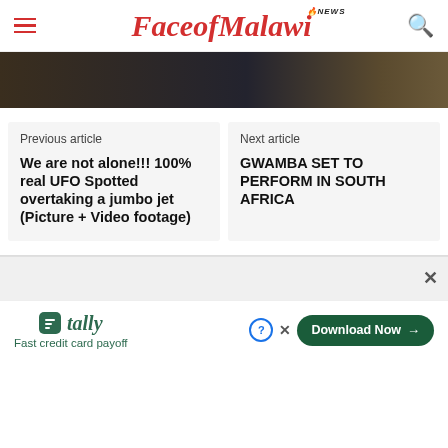FaceofMalawi NEWS
[Figure (photo): Dark background image strip showing partial scene]
Previous article
We are not alone!!! 100% real UFO Spotted overtaking a jumbo jet (Picture + Video footage)
Next article
GWAMBA SET TO PERFORM IN SOUTH AFRICA
[Figure (other): Advertisement area with close button]
[Figure (other): Tally app advertisement - Fast credit card payoff with Download Now button]